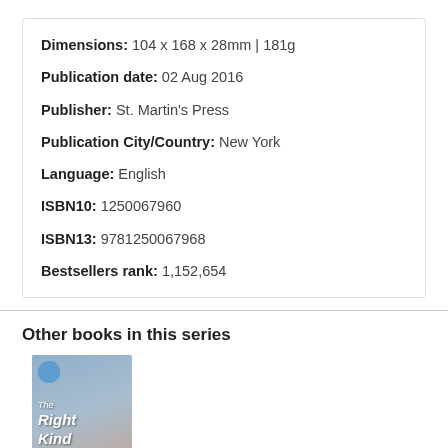Dimensions: 104 x 168 x 28mm | 181g
Publication date: 02 Aug 2016
Publisher: St. Martin's Press
Publication City/Country: New York
Language: English
ISBN10: 1250067960
ISBN13: 9781250067968
Bestsellers rank: 1,152,654
Other books in this series
[Figure (photo): Book cover of 'The Right Kind of Trouble' with illustrated couple on blue/grey background]